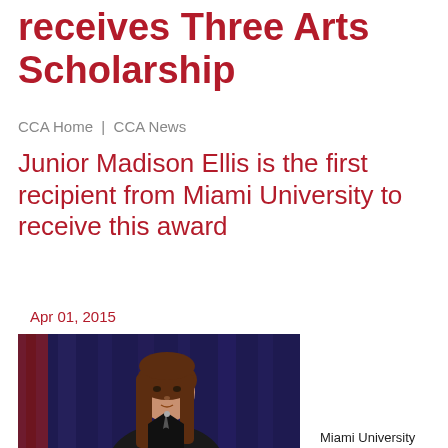receives Three Arts Scholarship
CCA Home  |  CCA News
Junior Madison Ellis is the first recipient from Miami University to receive this award
Apr 01, 2015
[Figure (photo): Young woman with long brown hair wearing a black outfit, standing in front of a dark blue curtain backdrop, speaking or presenting.]
Miami University